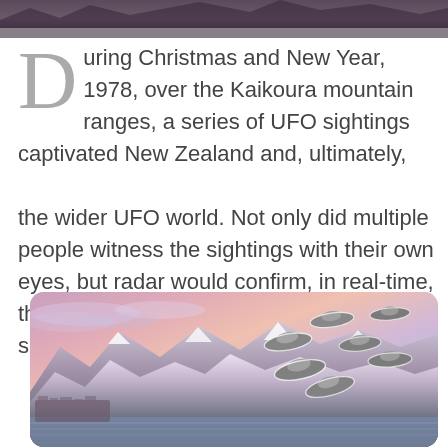[Figure (photo): Partial image at top of page showing dark mountainous or landscape scene, cropped at top edge]
During Christmas and New Year, 1978, over the Kaikoura mountain ranges, a series of UFO sightings captivated New Zealand and, ultimately, the wider UFO world. Not only did multiple people witness the sightings with their own eyes, but radar would confirm, in real-time, that “something solid” was indeed over the skies of New Zealand’s South Island.
[Figure (illustration): Illustration of Kaikoura coast with pink-purple sunset sky, mountains with snow, coastal town, and multiple flying saucer UFOs silhouetted against the sky]